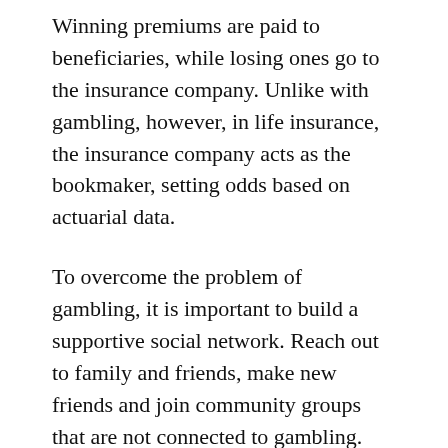Winning premiums are paid to beneficiaries, while losing ones go to the insurance company. Unlike with gambling, however, in life insurance, the insurance company acts as the bookmaker, setting odds based on actuarial data.
To overcome the problem of gambling, it is important to build a supportive social network. Reach out to family and friends, make new friends and join community groups that are not connected to gambling. Additionally, consider joining a peer support group like Gamblers Anonymous. This 12-step program is similar to that of Alcoholics Anonymous. To become a member of the group, you must find a sponsor,